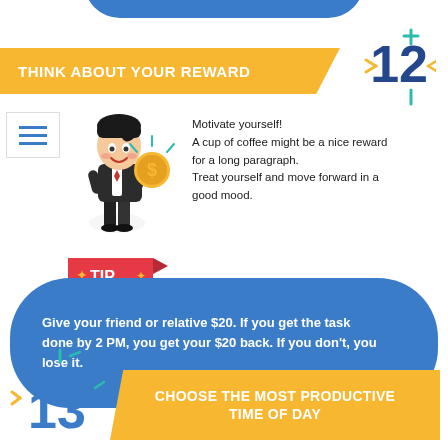THINK ABOUT YOUR REWARD
Motivate yourself! A cup of coffee might be a nice reward for a long paragraph. Treat yourself and move forward in a good mood.
[Figure (illustration): Cartoon businessman in suit holding a gold coin with number 2 on it, with sparkle rays above]
Give your friend or relative $20. If you get the task done by 2 PM, you get your $20 back. If you don't, you lose it.
CHOOSE THE MOST PRODUCTIVE TIME OF DAY